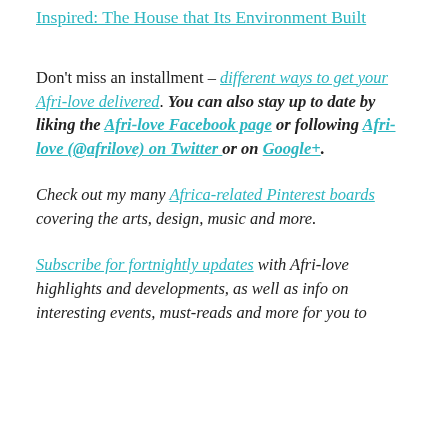Inspired: The House that Its Environment Built
Don't miss an installment – different ways to get your Afri-love delivered. You can also stay up to date by liking the Afri-love Facebook page or following Afri-love (@afrilove) on Twitter or on Google+.
Check out my many Africa-related Pinterest boards covering the arts, design, music and more.
Subscribe for fortnightly updates with Afri-love highlights and developments, as well as info on interesting events, must-reads and more for you to